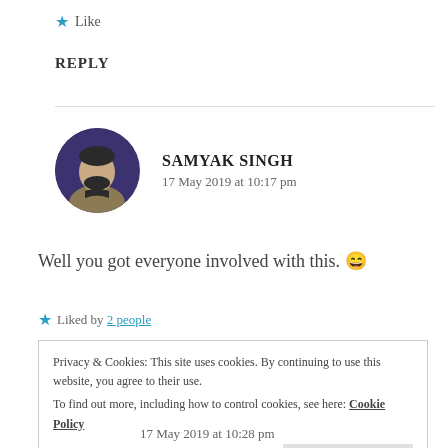★ Like
REPLY
SAMYAK SINGH
17 May 2019 at 10:17 pm
Well you got everyone involved with this. 😄
★ Liked by 2 people
Privacy & Cookies: This site uses cookies. By continuing to use this website, you agree to their use.
To find out more, including how to control cookies, see here: Cookie Policy
Close and accept
17 May 2019 at 10:28 pm